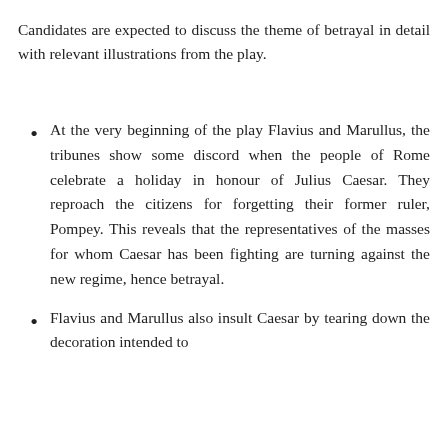Candidates are expected to discuss the theme of betrayal in detail with relevant illustrations from the play.
At the very beginning of the play Flavius and Marullus, the tribunes show some discord when the people of Rome celebrate a holiday in honour of Julius Caesar. They reproach the citizens for forgetting their former ruler, Pompey. This reveals that the representatives of the masses for whom Caesar has been fighting are turning against the new regime, hence betrayal.
Flavius and Marullus also insult Caesar by tearing down the decoration intended to